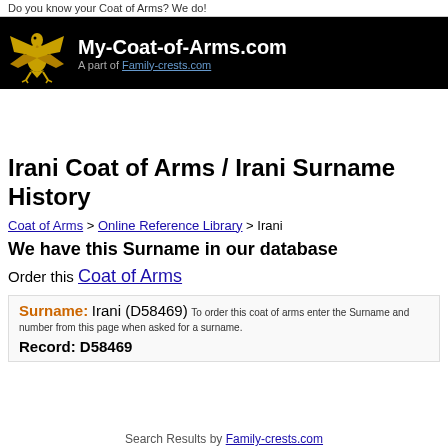Do you know your Coat of Arms? We do!
My-Coat-of-Arms.com — A part of Family-crests.com
Irani Coat of Arms / Irani Surname History
Coat of Arms > Online Reference Library > Irani
We have this Surname in our database
Order this Coat of Arms
Surname: Irani (D58469) To order this coat of arms enter the Surname and number from this page when asked for a surname. Record: D58469
Search Results by Family-crests.com